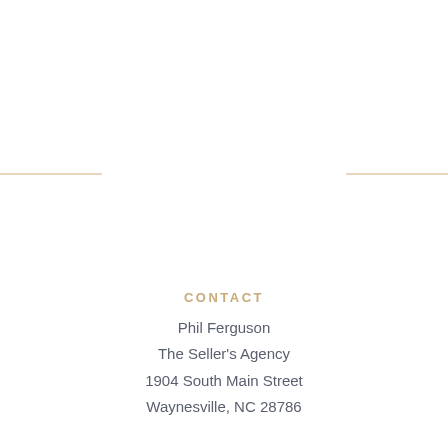[Figure (illustration): Decorative horizontal lines on left and right sides of page — two tan/gold colored horizontal rules flanking a center space, positioned roughly at vertical midpoint of the page.]
CONTACT
Phil Ferguson
The Seller's Agency
1904 South Main Street
Waynesville, NC 28786